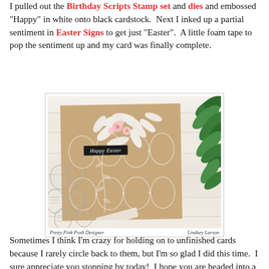I pulled out the Birthday Scripts Stamp set and dies and embossed "Happy" in white onto black cardstock. Next I inked up a partial sentiment in Easter Signs to get just "Easter". A little foam tape to pop the sentiment up and my card was finally complete.
[Figure (photo): Photo of a handmade Easter card on a kraft/tan background with white embossed egg patterns and white floral die cuts with pink flowers and a black script banner reading 'Happy Easter'. Green foliage visible in top right. Stamped Easter eggs visible in bottom left. Caption reads 'Pretty Pink Posh Designer' and 'Lindsey Larson'.]
Pretty Pink Posh Designer    Lindsey Larson
Sometimes I think I'm crazy for holding on to unfinished cards because I rarely circle back to them, but I'm so glad I did this time. I sure appreciate you stopping by today! I hope you are headed into a wonderful weekend friends! (PS...